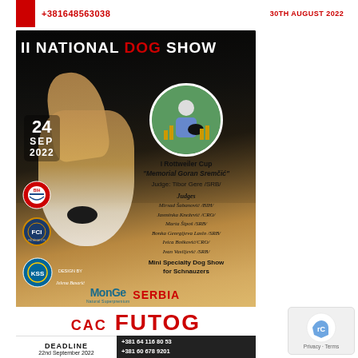+381648563038
30TH AUGUST 2022
[Figure (photo): II National Dog Show poster featuring a large dog (American Staffordshire Terrier / Akita type) on a dark background. Shows date 24 SEP 2022, BIH, FCI, KSS logos, judge circle photo, event details including I Rottweiler Cup Memorial Goran Sremčić, judges list, Mini Specialty Dog Show for Schnauzers, Monge and Serbia branding, CAC FUTOG large red text at bottom.]
DEADLINE
22nd September 2022
+381 64 116 80 53
+381 60 678 9201